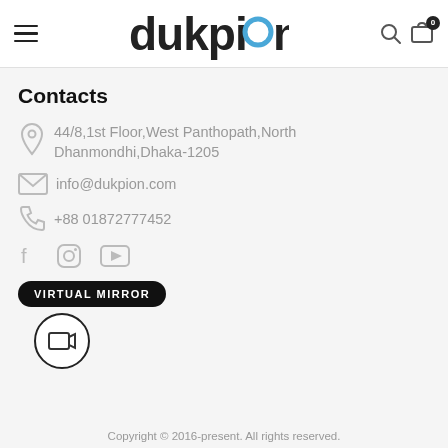[Figure (logo): Dukpion logo with stylized text and blue circle for letter 'o', navigation icons including hamburger menu, search, and cart with badge 0]
Contacts
44/8,1st Floor,West Panthopath,North Dhanmondhi,Dhaka-1205
info@dukpion.com
+88 01872777452
[Figure (illustration): Social media icons: Facebook, Instagram, YouTube]
[Figure (illustration): Virtual Mirror button (dark pill shape) and circular icon below it]
Copyright © 2016-present. All rights reserved.